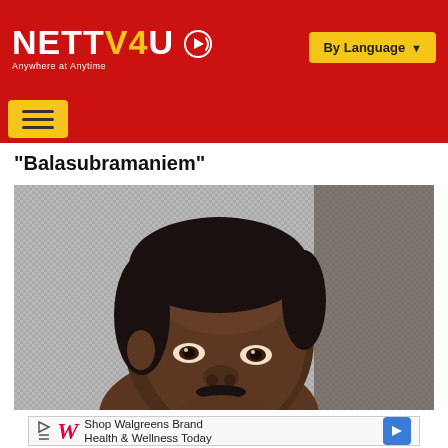NETTV4U — Anywhere at Anytime | By Language
"Balasubramaniem"
[Figure (photo): Close-up photo of a dark-skinned man with short black hair and a mustache, looking upward/sideways, against a grey mesh background.]
Shop Walgreens Brand Health & Wellness Today